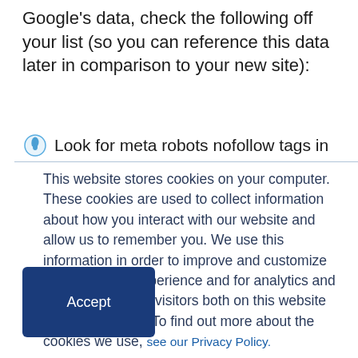Google's data, check the following off your list (so you can reference this data later in comparison to your new site):
Look for meta robots nofollow tags in
This website stores cookies on your computer. These cookies are used to collect information about how you interact with our website and allow us to remember you. We use this information in order to improve and customize your browsing experience and for analytics and metrics about our visitors both on this website and other media. To find out more about the cookies we use, see our Privacy Policy.
Accept